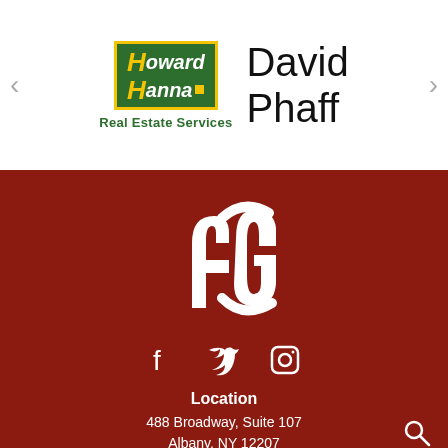[Figure (logo): Howard Hanna Real Estate Services logo with green background and yellow border, alongside agent name David Phaff]
David Phaff
Real Estate Services
[Figure (logo): ACG monogram logo in white on dark red background]
[Figure (infographic): Social media icons: Facebook, Twitter, Instagram]
Location
488 Broadway, Suite 107
Albany, NY 12207